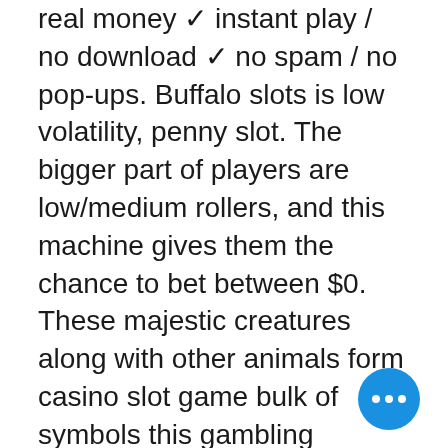real money ✓ instant play / no download ✓ no spam / no pop-ups. Buffalo slots is low volatility, penny slot. The bigger part of players are low/medium rollers, and this machine gives them the chance to bet between $0. These majestic creatures along with other animals form casino slot game bulk of symbols this gambling machine was introduced to online gambling. With a wide selection, there is a slots game for everyone. We're proud to carry a full range of buffalo slot games,. Game king x; smokin' hot stuff wicked wheel; wonder 4 boost gold; buffalo gold collection; selexion; dancing drums prosperity. Buffalo grand slot machines and more online casino games. The highlight of the new winner's world bar top machines is the inclusion of bar top versions of Instead, try out free slots on the go. Top Free Slots Providers. The amazing collection free slots is an outcome of the conscious efforts of casino software providers, buffalo